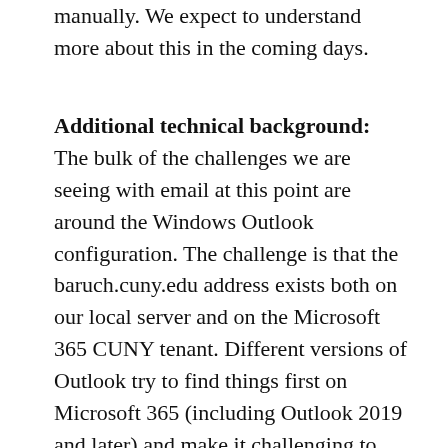manually.  We expect to understand more about this in the coming days.
Additional technical background:  The bulk of the challenges we are seeing with email at this point are around the Windows Outlook configuration.  The challenge is that the baruch.cuny.edu address exists both on our local server and on the Microsoft 365 CUNY tenant.  Different versions of Outlook try to find things first on Microsoft 365 (including Outlook 2019 and later) and make it challenging to access the old server and new system at the same time, or even to access the old server at all with the Windows Outlook Client.